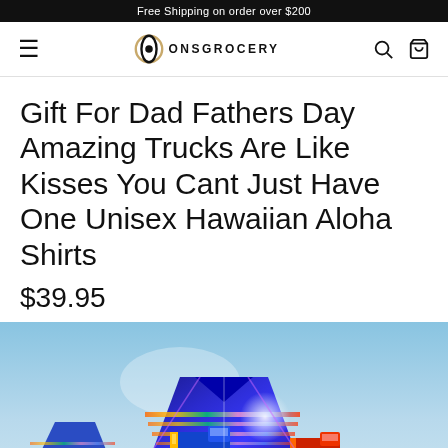Free Shipping on order over $200
[Figure (logo): ONSGrocery logo with circular O icon and hamburger menu, search and cart icons in navbar]
Gift For Dad Fathers Day Amazing Trucks Are Like Kisses You Cant Just Have One Unisex Hawaiian Aloha Shirts
$39.95
[Figure (photo): Hawaiian Aloha shirt with colorful truck graphics on blue/purple background]